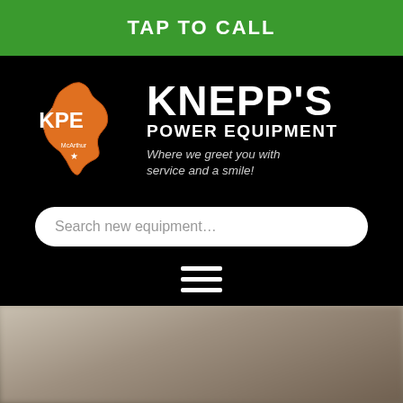TAP TO CALL
[Figure (logo): KPE Knepp's Power Equipment logo — orange Ohio state silhouette with KPE text, accompanied by brand name KNEPP'S POWER EQUIPMENT and tagline 'Where we greet you with service and a smile!']
Search new equipment...
[Figure (other): Hamburger menu icon — three horizontal white lines]
[Figure (photo): Blurry outdoor background photo at bottom of page]